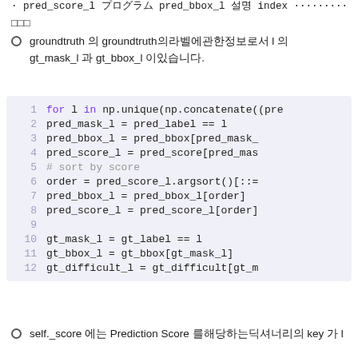groundtruth 의 groundtruth에서의라벨에관한정보로서 l 에 gt_mask_l 과 gt_bbox_l 이있습니다.
for l in np.unique(np.concatenate((pre
    pred_mask_l = pred_label == l
    pred_bbox_l = pred_bbox[pred_mask_
    pred_score_l = pred_score[pred_mas
    # sort by score
    order = pred_score_l.argsort()[::=
    pred_bbox_l = pred_bbox_l[order]
    pred_score_l = pred_score_l[order]

    gt_mask_l = gt_label == l
    gt_bbox_l = gt_bbox[gt_mask_l]
    gt_difficult_l = gt_difficult[gt_m
self._score 에는 Prediction Score 를해당하는딕셔너리의 key 가 l